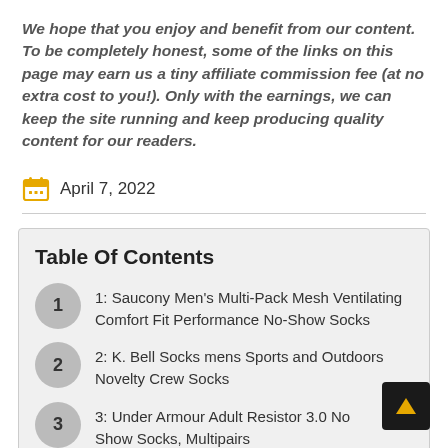We hope that you enjoy and benefit from our content. To be completely honest, some of the links on this page may earn us a tiny affiliate commission fee (at no extra cost to you!). Only with the earnings, we can keep the site running and keep producing quality content for our readers.
April 7, 2022
1: Saucony Men's Multi-Pack Mesh Ventilating Comfort Fit Performance No-Show Socks
2: K. Bell Socks mens Sports and Outdoors Novelty Crew Socks
3: Under Armour Adult Resistor 3.0 No Show Socks, Multipairs